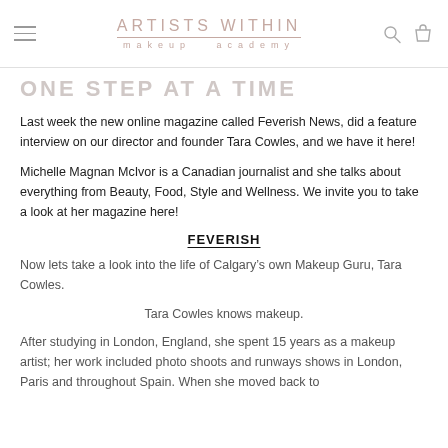ARTISTS WITHIN makeup academy
ONE STEP AT A TIME
Last week the new online magazine called Feverish News, did a feature interview on our director and founder Tara Cowles, and we have it here!
Michelle Magnan McIvor is a Canadian journalist and she talks about everything from Beauty, Food, Style and Wellness. We invite you to take a look at her magazine here!
FEVERISH
Now lets take a look into the life of Calgary’s own Makeup Guru, Tara Cowles.
Tara Cowles knows makeup.
After studying in London, England, she spent 15 years as a makeup artist; her work included photo shoots and runways shows in London, Paris and throughout Spain. When she moved back to